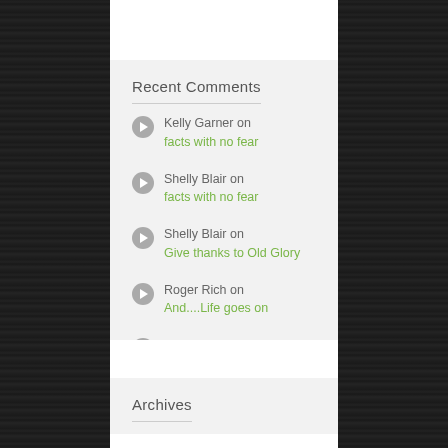Recent Comments
Kelly Garner on facts with no fear
Shelly Blair on facts with no fear
Shelly Blair on Give thanks to Old Glory
Roger Rich on And....Life goes on
Roger Rich on And....Life goes on
Archives